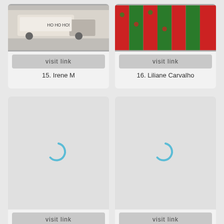[Figure (screenshot): Card 15 - Irene M, showing a partial image of a truck/vehicle with HO HO HO text, with a visit link button below]
15. Irene M
[Figure (screenshot): Card 16 - Liliane Carvalho, showing a partial Christmas-themed image with red and green stripes and candy, with a visit link button below]
16. Liliane Carvalho
[Figure (screenshot): Card 17 - Christmas Eve jm, showing a loading spinner on gray background with visit link button]
17. Christmas Eve jm
[Figure (screenshot): Card 18 - Christmas hat, showing a loading spinner on gray background with visit link button]
18. Christmas hat
[Figure (screenshot): Card 19 - showing a loading spinner on gray background, partially visible]
[Figure (screenshot): Card 20 - showing a loading spinner on gray background, partially visible]